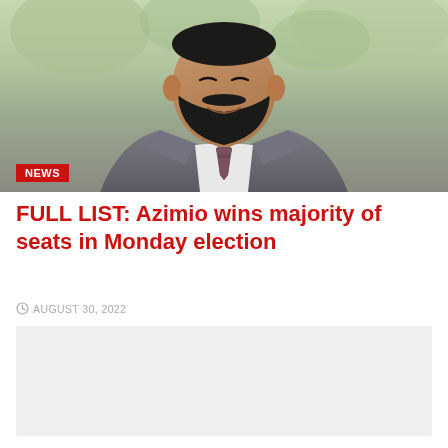[Figure (photo): Smiling man in grey suit with dark beard and striped tie, outdoors background, NEWS badge overlay]
FULL LIST: Azimio wins majority of seats in Monday election
AUGUST 30, 2022
[Figure (other): Advertisement or content placeholder box with light grey background]